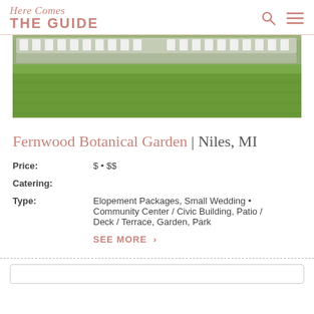Here Comes THE GUIDE
[Figure (photo): Outdoor wedding venue with rows of white chairs on a green lawn at Fernwood Botanical Garden]
Fernwood Botanical Garden | Niles, MI
Price: $ • $$
Catering:
Type: Elopement Packages, Small Wedding • Community Center / Civic Building, Patio / Deck / Terrace, Garden, Park
SEE MORE >